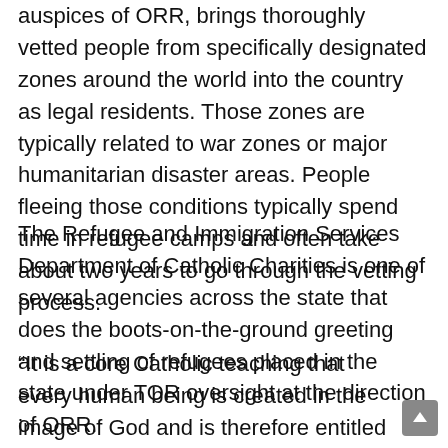auspices of ORR, brings thoroughly vetted people from specifically designated zones around the world into the country as legal residents. Those zones are typically related to war zones or major humanitarian disaster areas. People fleeing those conditions typically spend time in refugee camps and often take about two years to go through the vetting process.
The Refugee and Immigration Services Department of Catholic Charities is one of several agencies across the state that does the boots-on-the-ground greeting and settling of refugees placed in the state under TOR oversight at the direction of ORR.
“It is a core Catholic teaching that every human being is created in the image of God and is therefore entitled to dignity and respect,” according to the U.S. Conference of